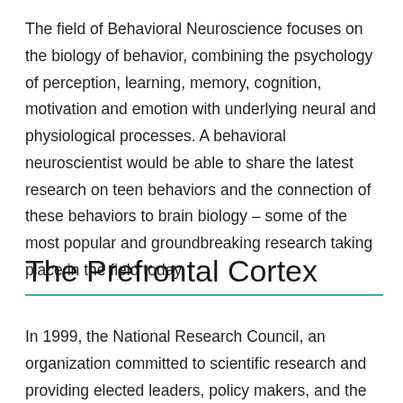The field of Behavioral Neuroscience focuses on the biology of behavior, combining the psychology of perception, learning, memory, cognition, motivation and emotion with underlying neural and physiological processes. A behavioral neuroscientist would be able to share the latest research on teen behaviors and the connection of these behaviors to brain biology – some of the most popular and groundbreaking research taking place in the field today.
The Prefrontal Cortex
In 1999, the National Research Council, an organization committed to scientific research and providing elected leaders, policy makers, and the public with results from